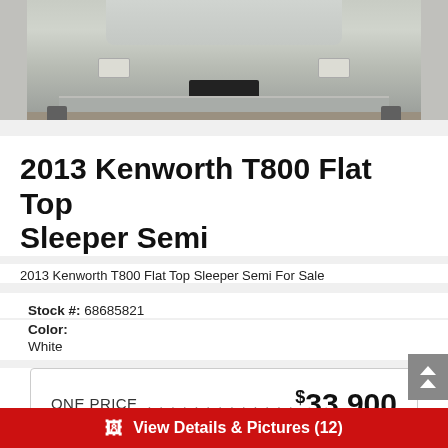[Figure (photo): Front view of a silver/white Kenworth T800 semi truck photographed from the front, showing grille, headlights, and bumper on a dirt/gravel surface]
2013 Kenworth T800 Flat Top Sleeper Semi
2013 Kenworth T800 Flat Top Sleeper Semi For Sale
Stock #: 68685821
Color: White
ONE PRICE . . . . . . . . . . . . . . . . . . . . . . . . . . . . . . $33,900
View Details & Pictures (12)